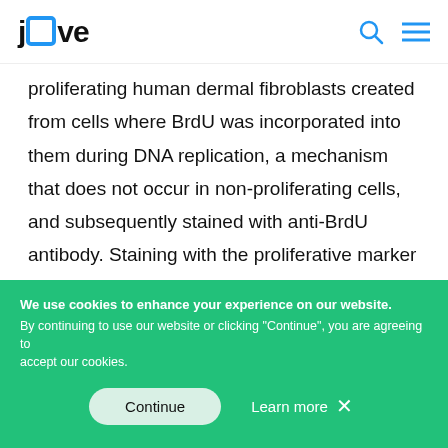jove
proliferating human dermal fibroblasts created from cells where BrdU was incorporated into them during DNA replication, a mechanism that does not occur in non-proliferating cells, and subsequently stained with anti-BrdU antibody. Staining with the proliferative marker anti-pKi67 antibody is also visible in Figure 2. This is a robust antigen and survives the FISH protocol
We use cookies to enhance your experience on our website. By continuing to use our website or clicking "Continue", you are agreeing to accept our cookies.